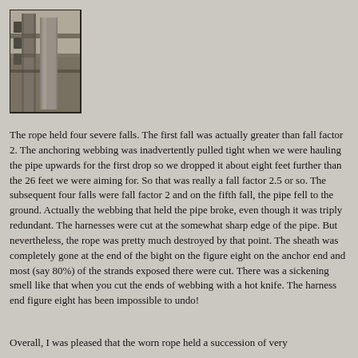[Figure (photo): A photo of what appears to be a building exterior with metal ductwork or pipes visible, taken at an angle from below looking up, with industrial/urban construction elements visible.]
The rope held four severe falls. The first fall was actually greater than fall factor 2. The anchoring webbing was inadvertently pulled tight when we were hauling the pipe upwards for the first drop so we dropped it about eight feet further than the 26 feet we were aiming for. So that was really a fall factor 2.5 or so. The subsequent four falls were fall factor 2 and on the fifth fall, the pipe fell to the ground. Actually the webbing that held the pipe broke, even though it was triply redundant. The harnesses were cut at the somewhat sharp edge of the pipe. But nevertheless, the rope was pretty much destroyed by that point. The sheath was completely gone at the end of the bight on the figure eight on the anchor end and most (say 80%) of the strands exposed there were cut. There was a sickening smell like that when you cut the ends of webbing with a hot knife. The harness end figure eight has been impossible to undo!
Overall, I was pleased that the worn rope held a succession of very